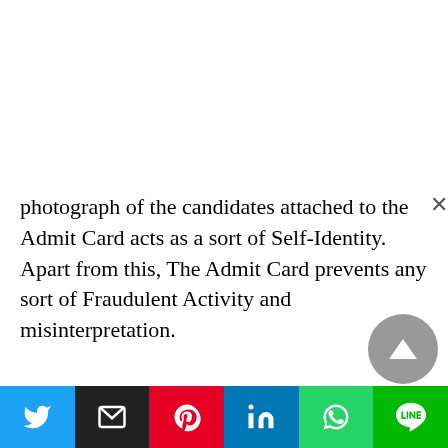photograph of the candidates attached to the Admit Card acts as a sort of Self-Identity. Apart from this, The Admit Card prevents any sort of Fraudulent Activity and misinterpretation.
Latest Admit Cards Released
SBTE Bihar Admit Card 2018
CISF Constable Fire DV Test Admit Card